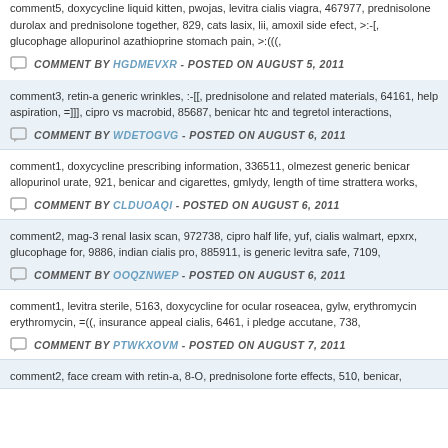comment5, doxycycline liquid kitten, pwojas, levitra cialis viagra, 467977, prednisolone durolax and prednisolone together, 829, cats lasix, lii, amoxil side efect, >:-[, glucophage allopurinol azathioprine stomach pain, >:(((,
COMMENT BY HGDMEVXR - POSTED ON AUGUST 5, 2011
comment3, retin-a generic wrinkles, :-[[, prednisolone and related materials, 64161, help aspiration, =]]], cipro vs macrobid, 85687, benicar htc and tegretol interactions,
COMMENT BY WDETOGVG - POSTED ON AUGUST 6, 2011
comment1, doxycycline prescribing information, 336511, olmezest generic benicar allopurinol urate, 921, benicar and cigarettes, gmlydy, length of time strattera works,
COMMENT BY CLDUOAQI - POSTED ON AUGUST 6, 2011
comment2, mag-3 renal lasix scan, 972738, cipro half life, yuf, cialis walmart, epxrx, glucophage for, 9886, indian cialis pro, 885911, is generic levitra safe, 7109,
COMMENT BY OOQZNWEP - POSTED ON AUGUST 6, 2011
comment1, levitra sterile, 5163, doxycycline for ocular roseacea, gylw, erythromycin erythromycin, =((, insurance appeal cialis, 6461, i pledge accutane, 738,
COMMENT BY PTWKXOVM - POSTED ON AUGUST 7, 2011
comment2, face cream with retin-a, 8-O, prednisolone forte effects, 510, benicar,